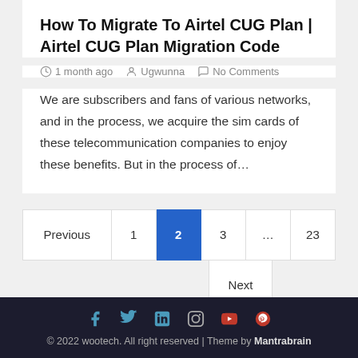How To Migrate To Airtel CUG Plan | Airtel CUG Plan Migration Code
1 month ago   Ugwunna   No Comments
We are subscribers and fans of various networks, and in the process, we acquire the sim cards of these telecommunication companies to enjoy these benefits. But in the process of…
[Figure (other): Pagination navigation: Previous, 1, 2 (active/highlighted in blue), 3, ..., 23, Next]
© 2022 wootech. All right reserved | Theme by Mantrabrain